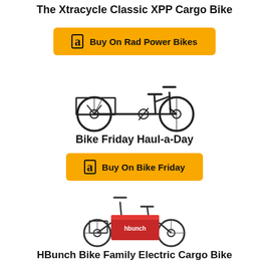The Xtracycle Classic XPP Cargo Bike
[Figure (other): Yellow Amazon buy button labeled 'Buy On Rad Power Bikes']
[Figure (illustration): Bike Friday Haul-a-Day cargo bike illustration - a long-tail folding cargo bicycle in black and white]
Bike Friday Haul-a-Day
[Figure (other): Yellow Amazon buy button labeled 'Buy On Bike Friday']
[Figure (illustration): HBunch Bike Family Electric Cargo Bike illustration - a red tricycle cargo bike]
HBunch Bike Family Electric Cargo Bike